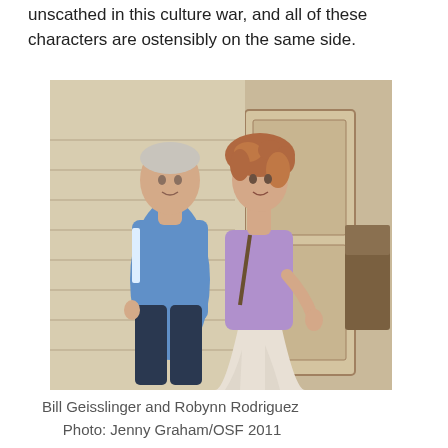unscathed in this culture war, and all of these characters are ostensibly on the same side.
[Figure (photo): Two actors on stage: a man in a blue polo shirt and dark jeans standing next to a woman with curly reddish hair wearing a lavender blouse and a light flowing skirt, posed in front of a door on a theatrical set.]
Bill Geisslinger and Robynn Rodriguez
      Photo: Jenny Graham/OSF 2011
OSF's staging manages to arrange all of the Weston's home on a two level set that maintains the requisite rooms, but envisions a more cozy space where the privacy of any conversation in the Weston's home is called into question. It's a nice touch that reinforces the notion of the many open secrets that plague this family. Moore's approach to the